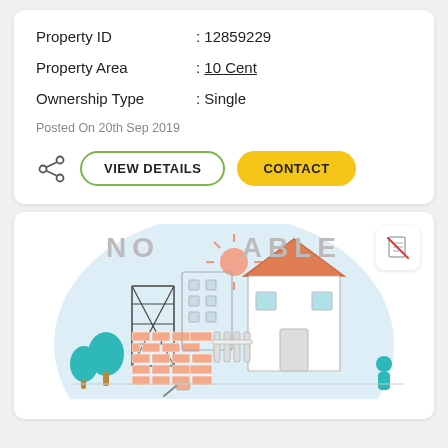Property ID : 12859229
Property Area : 10 Cent
Ownership Type : Single
Posted On 20th Sep 2019
VIEW DETAILS
CONTACT
[Figure (illustration): Property listing illustration showing a house with a roof, fence, construction tower, brick wall, trees, and sun. Text watermark says 'NO IMAGE AVAILABLE'. A no-document icon appears in the top right corner.]